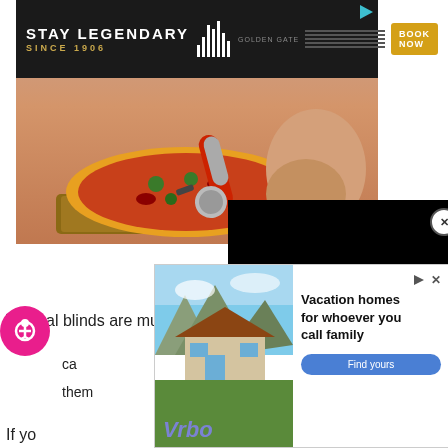[Figure (photo): Advertisement banner: 'STAY LEGENDARY SINCE 1906' Golden Gate hotel ad with bar chart logo and BOOK NOW button]
[Figure (photo): Promotional image showing person cutting pizza with red pizza cutter on wooden board with text overlay partially visible reading 'SHOULD OWN']
[Figure (other): Black video player overlay with close button]
Vertical blinds are much
ca
them
[Figure (other): VRBO advertisement: 'Vacation homes for whoever you call family' with Find yours button and mountain house photo]
If yo